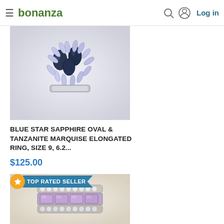bonanza — Log in
[Figure (photo): Close-up photo of a Blue Star Sapphire oval and Tanzanite Marquise elongated ring showing dark oval sapphire cabochons surrounded by marquise-cut light purple/lavender tanzanite stones arranged in a fan/spray pattern on a silver setting]
BLUE STAR SAPPHIRE OVAL & TANZANITE MARQUISE ELONGATED RING, SIZE 9, 6.2...
$125.00
[Figure (photo): Photo of a silver ring with a row of rectangular purple/lavender amethyst stones in the center, flanked above and below by rows of small round clear/white diamonds or crystal stones. Badge reads TOP RATED SELLER.]